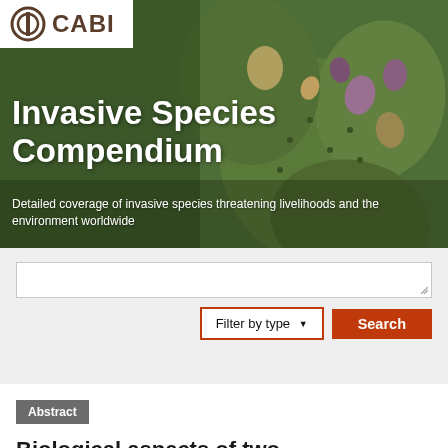[Figure (screenshot): CABI Invasive Species Compendium website hero banner with cactus background photo, CABI logo, title, subtitle, search box, filter and search controls, and an abstract result entry.]
Invasive Species Compendium
Detailed coverage of invasive species threatening livelihoods and the environment worldwide
Filter by type  Search
Abstract
Biological aspects of two